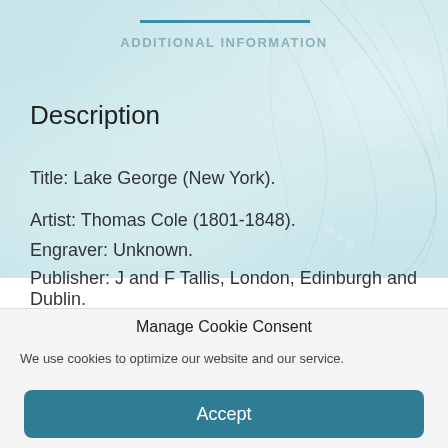ADDITIONAL INFORMATION
Description
Title: Lake George (New York).
Artist: Thomas Cole (1801-1848).
Engraver: Unknown.
Publisher: J and F Tallis, London, Edinburgh and Dublin.
Manage Cookie Consent
We use cookies to optimize our website and our service.
Accept